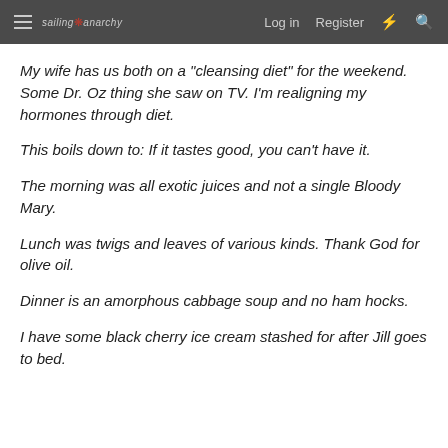sailing anarchy  Log in  Register
My wife has us both on a "cleansing diet" for the weekend. Some Dr. Oz thing she saw on TV. I'm realigning my hormones through diet.
This boils down to: If it tastes good, you can't have it.
The morning was all exotic juices and not a single Bloody Mary.
Lunch was twigs and leaves of various kinds. Thank God for olive oil.
Dinner is an amorphous cabbage soup and no ham hocks.
I have some black cherry ice cream stashed for after Jill goes to bed.